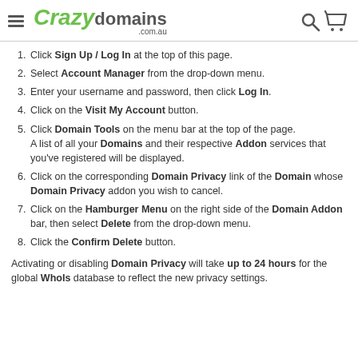Crazy domains .com.au
Click Sign Up / Log In at the top of this page.
Select Account Manager from the drop-down menu.
Enter your username and password, then click Log In.
Click on the Visit My Account button.
Click Domain Tools on the menu bar at the top of the page. A list of all your Domains and their respective Addon services that you've registered will be displayed.
Click on the corresponding Domain Privacy link of the Domain whose Domain Privacy addon you wish to cancel.
Click on the Hamburger Menu on the right side of the Domain Addon bar, then select Delete from the drop-down menu.
Click the Confirm Delete button.
Activating or disabling Domain Privacy will take up to 24 hours for the global WhoIs database to reflect the new privacy settings.